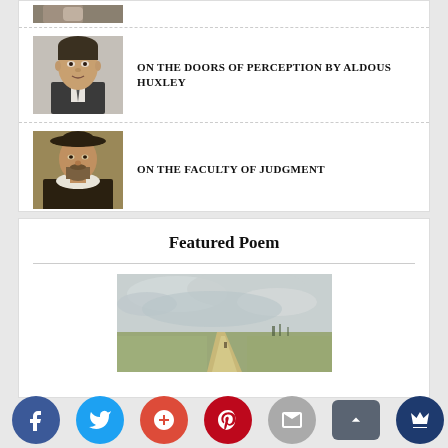[Figure (photo): Partial top of a portrait photo (cropped at top of page)]
ON THE DOORS OF PERCEPTION BY ALDOUS HUXLEY
[Figure (photo): Black and white portrait photo of Aldous Huxley]
ON THE FACULTY OF JUDGMENT
[Figure (photo): Portrait painting of a bearded man in Renaissance attire (Montaigne)]
Featured Poem
[Figure (photo): Landscape painting showing a wide plain with a dirt road under a cloudy sky]